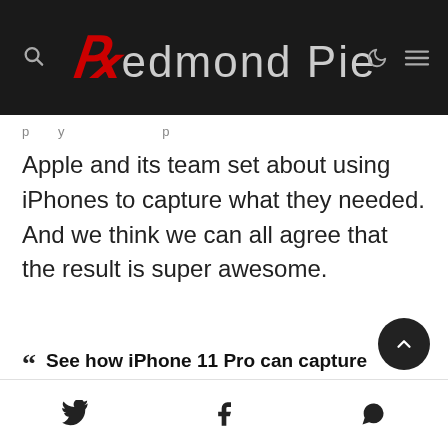Redmond Pie
Apple and its team set about using iPhones to capture what they needed. And we think we can all agree that the result is super awesome.
See how iPhone 11 Pro can capture incredible footage of elements at their most extreme.